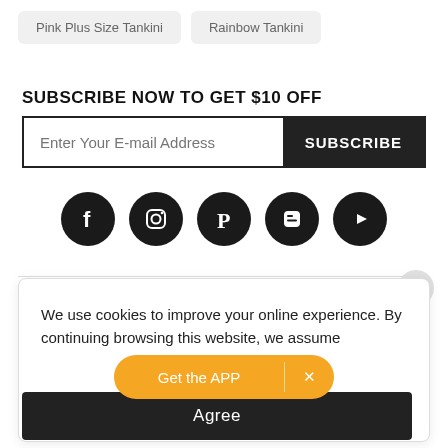Pink Plus Size Tankini
Rainbow Tankini
SUBSCRIBE NOW TO GET $10 OFF
Enter Your E-mail Address | SUBSCRIBE
[Figure (infographic): Row of 5 social media icons (Facebook, Instagram, Pinterest, Blogger, YouTube) as white icons on black circles]
We use cookies to improve your online experience. By continuing browsing this website, we assume [Get the APP] [X] es and Cookie Policy.
Agree